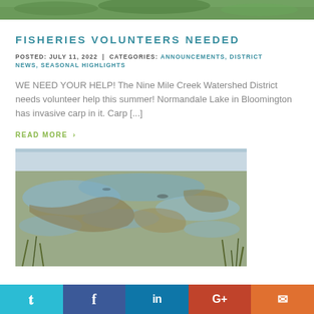[Figure (photo): Green foliage/nature photo cropped at top of page]
FISHERIES VOLUNTEERS NEEDED
POSTED: JULY 11, 2022  |  CATEGORIES: ANNOUNCEMENTS, DISTRICT NEWS, SEASONAL HIGHLIGHTS
WE NEED YOUR HELP! The Nine Mile Creek Watershed District needs volunteer help this summer! Normandale Lake in Bloomington has invasive carp in it. Carp [...]
READ MORE >
[Figure (photo): Lake water surface with muddy/murky water, some aquatic plants visible at edges — invasive carp habitat photo]
Twitter | Facebook | LinkedIn | Google+ | Email social share buttons